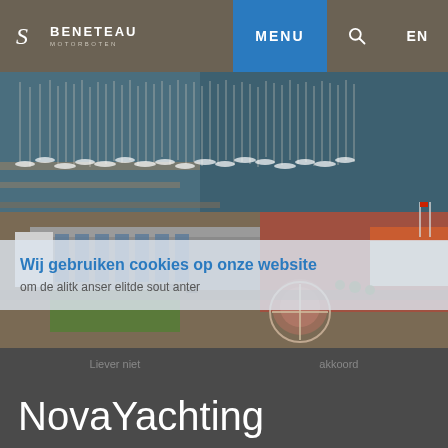BENETEAU MOTORBOTEN — MENU — EN
Wij gebruiken cookies op onze website om de alitk anser elitde sout anter
[Figure (photo): Aerial view of NovaYachting marina and dealership building with boats moored in the harbor]
Liever niet      akkoord
NovaYachting